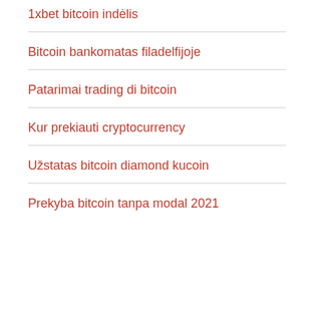1xbet bitcoin indėlis
Bitcoin bankomatas filadelfijoje
Patarimai trading di bitcoin
Kur prekiauti cryptocurrency
Užstatas bitcoin diamond kucoin
Prekyba bitcoin tanpa modal 2021